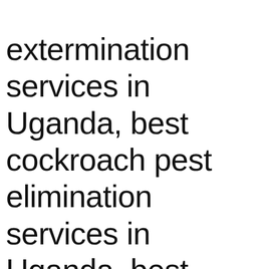extermination services in Uganda, best cockroach pest elimination services in Uganda, best cockroach pest eradication